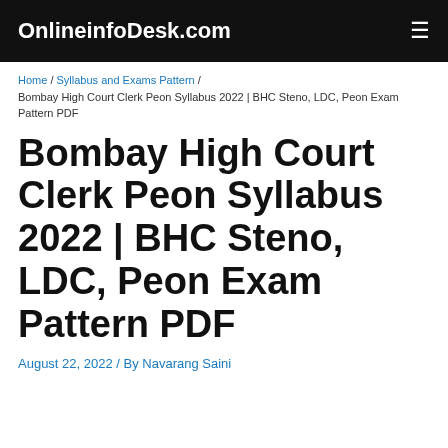OnlineinfoDesk.com
Home / Syllabus and Exams Pattern / Bombay High Court Clerk Peon Syllabus 2022 | BHC Steno, LDC, Peon Exam Pattern PDF
Bombay High Court Clerk Peon Syllabus 2022 | BHC Steno, LDC, Peon Exam Pattern PDF
August 22, 2022 / By Navarang Saini